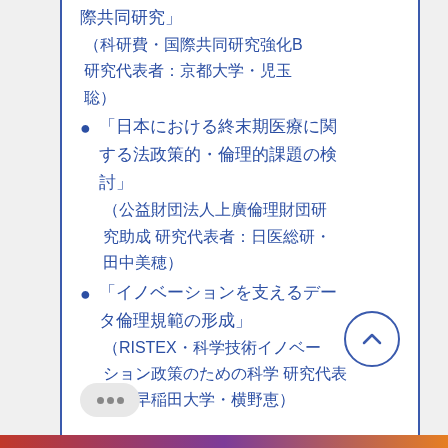際共同研究」（科研費・国際共同研究強化B 研究代表者：京都大学・児玉聡）
「日本における終末期医療に関する法政策的・倫理的課題の検討」（公益財団法人上廣倫理財団研究助成 研究代表者：日医総研・田中美穂）
「イノベーションを支えるデータ倫理規範の形成」（RISTEX・科学技術イノベーション政策のための科学 研究代表者：早稲田大学・横野恵）